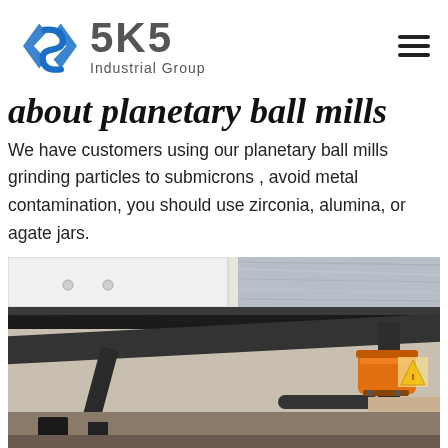[Figure (logo): SKS Industrial Group logo with blue angular arrow/chevron symbol and grey text]
about planetary ball mills
We have customers using our planetary ball mills grinding particles to submicrons , avoid metal contamination, you should use zirconia, alumina, or agate jars.
[Figure (photo): Close-up photograph of a planetary ball mill machine showing metal frame, flat grinding plate, black structural arms, and an orange cylindrical grinding jar/container mounted on the right side]